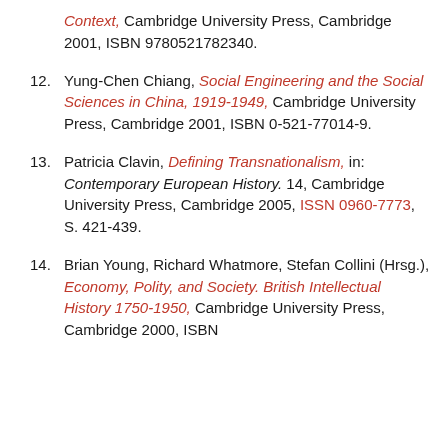(continuation) Context, Cambridge University Press, Cambridge 2001, ISBN 9780521782340.
12. Yung-Chen Chiang, Social Engineering and the Social Sciences in China, 1919-1949, Cambridge University Press, Cambridge 2001, ISBN 0-521-77014-9.
13. Patricia Clavin, Defining Transnationalism, in: Contemporary European History. 14, Cambridge University Press, Cambridge 2005, ISSN 0960-7773, S. 421-439.
14. Brian Young, Richard Whatmore, Stefan Collini (Hrsg.), Economy, Polity, and Society. British Intellectual History 1750-1950, Cambridge University Press, Cambridge 2000, ISBN